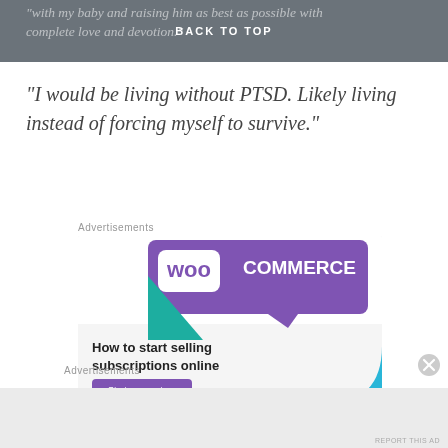BACK TO TOP
“with my baby and raising him as best as possible with complete love and devotion.”
“I would be living without PTSD. Likely living instead of forcing myself to survive.”
Advertisements
[Figure (other): WooCommerce advertisement banner: purple speech bubble logo with 'WooCommerce' text, teal triangle shape, cyan quarter-circle, text 'How to start selling subscriptions online', and 'Start a new store' button]
Advertisements